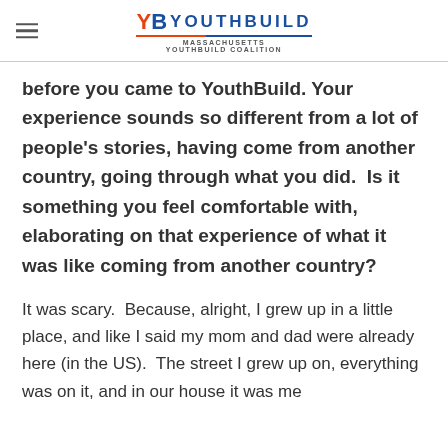YouthBuild Massachusetts YouthBuild Coalition
before you came to YouthBuild. Your experience sounds so different from a lot of people's stories, having come from another country, going through what you did.  Is it something you feel comfortable with, elaborating on that experience of what it was like coming from another country?
It was scary.  Because, alright, I grew up in a little place, and like I said my mom and dad were already here (in the US).  The street I grew up on, everything was on it, and in our house it was me